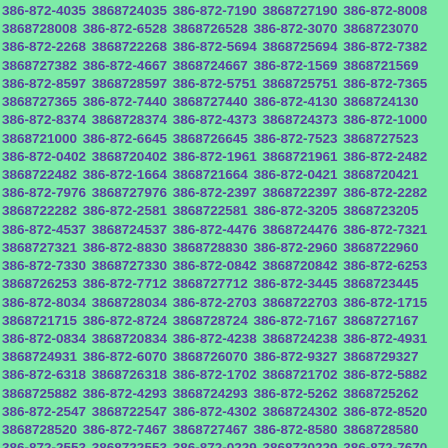386-872-4035 3868724035 386-872-7190 3868727190 386-872-8008 3868728008 386-872-6528 3868726528 386-872-3070 3868723070 386-872-2268 3868722268 386-872-5694 3868725694 386-872-7382 3868727382 386-872-4667 3868724667 386-872-1569 3868721569 386-872-8597 3868728597 386-872-5751 3868725751 386-872-7365 3868727365 386-872-7440 3868727440 386-872-4130 3868724130 386-872-8374 3868728374 386-872-4373 3868724373 386-872-1000 3868721000 386-872-6645 3868726645 386-872-7523 3868727523 386-872-0402 3868720402 386-872-1961 3868721961 386-872-2482 3868722482 386-872-1664 3868721664 386-872-0421 3868720421 386-872-7976 3868727976 386-872-2397 3868722397 386-872-2282 3868722282 386-872-2581 3868722581 386-872-3205 3868723205 386-872-4537 3868724537 386-872-4476 3868724476 386-872-7321 3868727321 386-872-8830 3868728830 386-872-2960 3868722960 386-872-7330 3868727330 386-872-0842 3868720842 386-872-6253 3868726253 386-872-7712 3868727712 386-872-3445 3868723445 386-872-8034 3868728034 386-872-2703 3868722703 386-872-1715 3868721715 386-872-8724 3868728724 386-872-7167 3868727167 386-872-0834 3868720834 386-872-4238 3868724238 386-872-4931 3868724931 386-872-6070 3868726070 386-872-9327 3868729327 386-872-6318 3868726318 386-872-1702 3868721702 386-872-5882 3868725882 386-872-4293 3868724293 386-872-5262 3868725262 386-872-2547 3868722547 386-872-4302 3868724302 386-872-8520 3868728520 386-872-7467 3868727467 386-872-8580 3868728580 386-872-2553 3868722553 386-872-0229 3868720229 386-872-7670